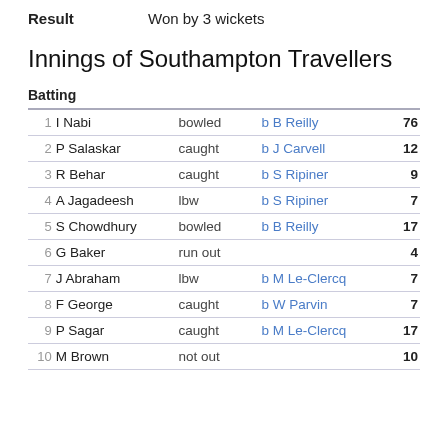Result    Won by 3 wickets
Innings of Southampton Travellers
| # | Name | How out | Bowler | Score |
| --- | --- | --- | --- | --- |
| 1 | I Nabi | bowled | b B Reilly | 76 |
| 2 | P Salaskar | caught | b J Carvell | 12 |
| 3 | R Behar | caught | b S Ripiner | 9 |
| 4 | A Jagadeesh | lbw | b S Ripiner | 7 |
| 5 | S Chowdhury | bowled | b B Reilly | 17 |
| 6 | G Baker | run out |  | 4 |
| 7 | J Abraham | lbw | b M Le-Clercq | 7 |
| 8 | F George | caught | b W Parvin | 7 |
| 9 | P Sagar | caught | b M Le-Clercq | 17 |
| 10 | M Brown | not out |  | 10 |